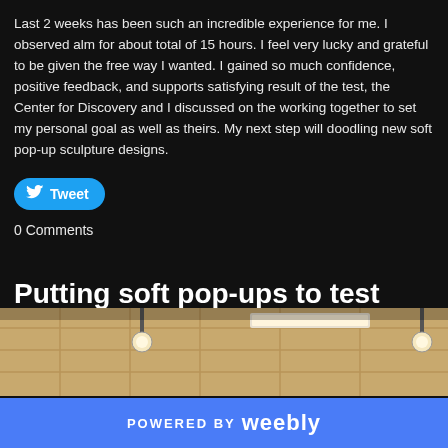Last 2 weeks has been such an incredible experience for me. I observed alm for about total of 15 hours. I feel very lucky and grateful to be given the free way I wanted. I gained so much confidence, positive feedback, and supports satisfying result of the test, the Center for Discovery and I discussed on the working together to set my personal goal as well as theirs. My next step will doodling new soft pop-up sculpture designs.
[Figure (other): Twitter Tweet button (blue rounded rectangle with bird icon)]
0 Comments
Putting soft pop-ups to test part 2
11/18/2012
This is the location of the display wall we picked in the Center for Discovery. castle, and go to the play area, which is seen on the far right side in this pict
[Figure (photo): Interior ceiling photo showing ceiling tiles and hanging lights in a warm-toned room]
POWERED BY weebly